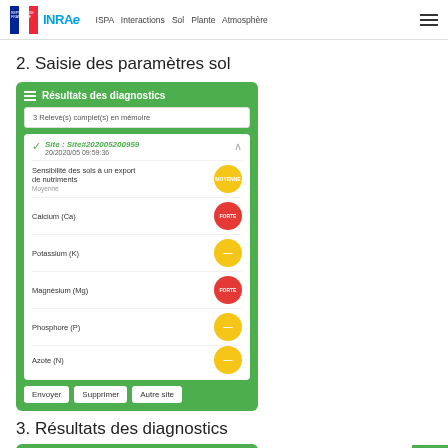REPUBLIQUE FRANÇAISE | INRAE | ISPA Interactions Sol Plante Atmosphère
2. Saisie des paramètres sol
[Figure (screenshot): Mobile app screenshot showing 'Résultats des diagnostics' screen with site Site#202005200959, dated 20/2020/05 09:59:36. Shows soil parameters: Sensibilité des sols à un export de nutriments (Moyenne - yellow badge), Calcium (Ca) (FORTE - red badge), Potassium (K) (yellow badge), Magnésium (Mg) (FORTE - red badge), Phosphore (P) (yellow badge), Azote (N) partially visible (yellow badge). Buttons: Envoyer, Supprimer, Autre site.]
3. Résultats des diagnostics
[Figure (screenshot): Partial mobile app screenshot showing 'Résultats des diagnostics' header in green.]